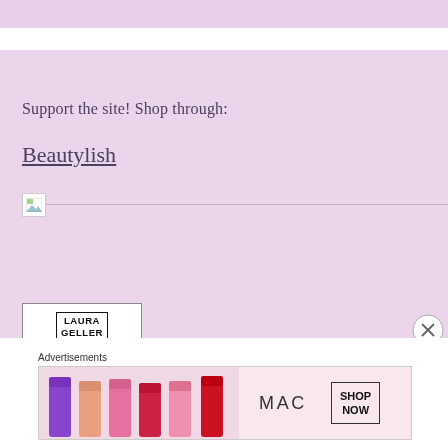[Figure (other): Top pink decorative bar]
Support the site! Shop through:
Beautylish
[Figure (other): Broken image placeholder with horizontal line]
[Figure (other): Laura Geller New York advertisement box with 'FREE SHIPING OVER $50' text]
[Figure (other): Close/X circle button overlay]
Advertisements
[Figure (other): MAC Cosmetics advertisement banner showing lipsticks and SHOP NOW button]